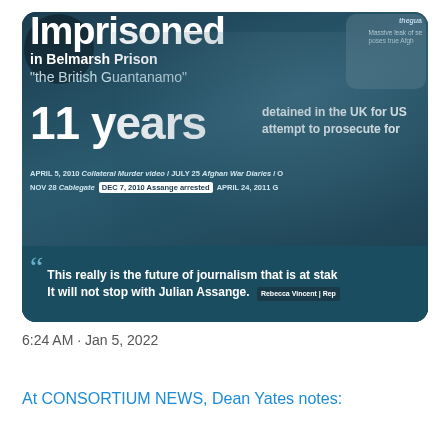[Figure (infographic): Infographic about Julian Assange imprisoned in Belmarsh Prison. Features large text '11 years', 'detained in the UK for US attempt to prosecute for', timeline of events including Collateral Murder video, Afghan War Diaries, Cablegate, Assange arrested. Quote: 'This really is the future of journalism that is at stake. It will not stop with Julian Assange.' attributed to Rebecca Vincent | Rep]
6:24 AM · Jan 5, 2022
At CONSORTIUM NEWS, Dean Yates notes: